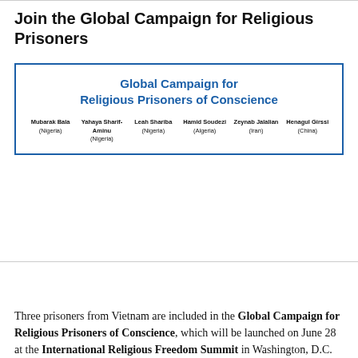Join the Global Campaign for Religious Prisoners
[Figure (infographic): A bordered box titled 'Global Campaign for Religious Prisoners of Conscience' in bold blue text, with six prisoners listed below in columns: Mubarak Bala (Nigeria), Yahaya Sharif-Aminu (Nigeria), Leah Shariba (Nigeria), Hamid Soudezi (Algeria), Zeynab Jalalian (Iran), Henagul Girssi (China)]
Three prisoners from Vietnam are included in the Global Campaign for Religious Prisoners of Conscience, which will be launched on June 28 at the International Religious Freedom Summit in Washington, D.C.